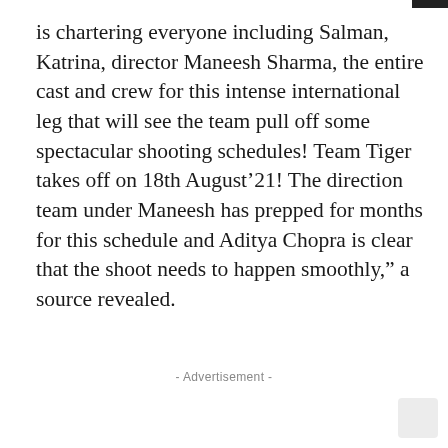is chartering everyone including Salman, Katrina, director Maneesh Sharma, the entire cast and crew for this intense international leg that will see the team pull off some spectacular shooting schedules! Team Tiger takes off on 18th August’21! The direction team under Maneesh has prepped for months for this schedule and Aditya Chopra is clear that the shoot needs to happen smoothly,” a source revealed.
- Advertisement -